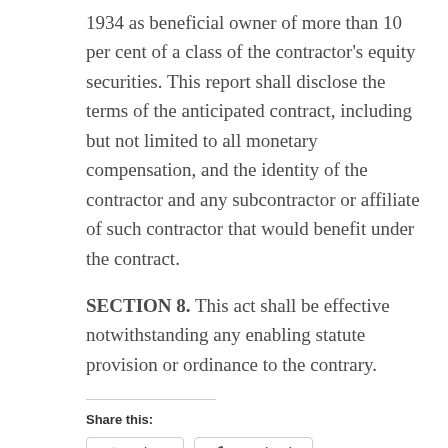1934 as beneficial owner of more than 10 per cent of a class of the contractor's equity securities. This report shall disclose the terms of the anticipated contract, including but not limited to all monetary compensation, and the identity of the contractor and any subcontractor or affiliate of such contractor that would benefit under the contract.
SECTION 8. This act shall be effective notwithstanding any enabling statute provision or ordinance to the contrary.
Share this:
Twitter
Facebook
Like
Be the first to like this.